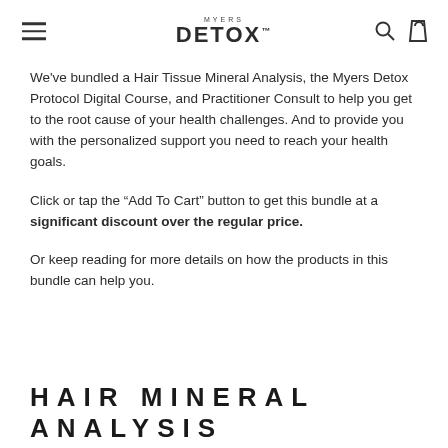MYERS DETOX
We've bundled a Hair Tissue Mineral Analysis, the Myers Detox Protocol Digital Course, and Practitioner Consult to help you get to the root cause of your health challenges. And to provide you with the personalized support you need to reach your health goals.
Click or tap the “Add To Cart” button to get this bundle at a significant discount over the regular price.
Or keep reading for more details on how the products in this bundle can help you.
HAIR MINERAL ANALYSIS